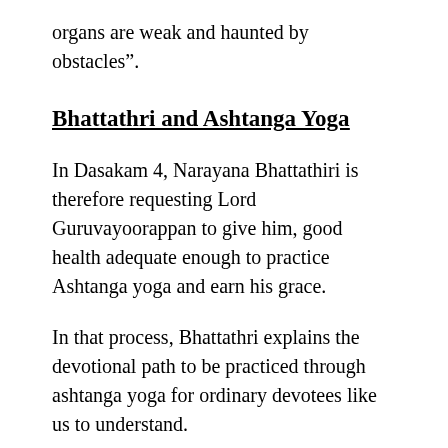organs are weak and haunted by obstacles”.
Bhattathri and Ashtanga Yoga
In Dasakam 4, Narayana Bhattathiri is therefore requesting Lord Guruvayoorappan to give him, good health adequate enough to practice Ashtanga yoga and earn his grace.
In that process, Bhattathri explains the devotional path to be practiced through ashtanga yoga for ordinary devotees like us to understand.
He also explains the benefits of practicing this